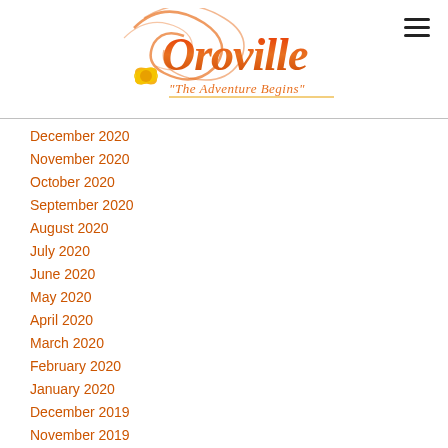[Figure (logo): Oroville city logo with stylized script text 'Oroville' in orange/red gradient with floral decoration and tagline 'The Adventure Begins' in orange italic]
December 2020
November 2020
October 2020
September 2020
August 2020
July 2020
June 2020
May 2020
April 2020
March 2020
February 2020
January 2020
December 2019
November 2019